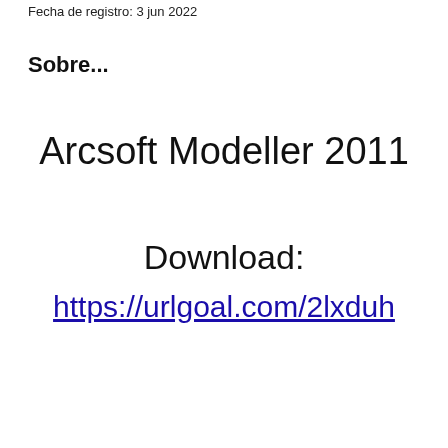Fecha de registro: 3 jun 2022
Sobre...
Arcsoft Modeller 2011
Download:
https://urlgoal.com/2lxduh